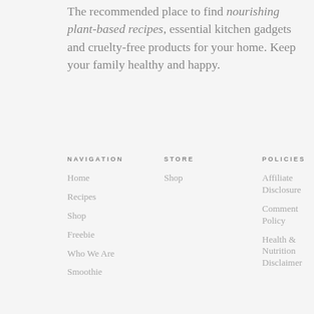The recommended place to find nourishing plant-based recipes, essential kitchen gadgets and cruelty-free products for your home. Keep your family healthy and happy.
NAVIGATION
STORE
POLICIES
Home
Recipes
Shop
Freebie
Who We Are
Smoothie
Shop
Affiliate Disclosure
Comment Policy
Health & Nutrition Disclaimer